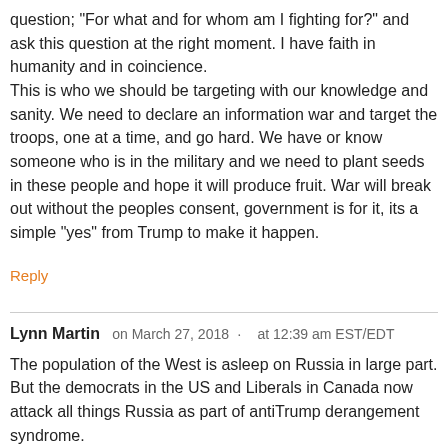question; "For what and for whom am I fighting for?" and ask this question at the right moment. I have faith in humanity and in coincience.
This is who we should be targeting with our knowledge and sanity. We need to declare an information war and target the troops, one at a time, and go hard. We have or know someone who is in the military and we need to plant seeds in these people and hope it will produce fruit. War will break out without the peoples consent, government is for it, its a simple “yes” from Trump to make it happen.
Reply
Lynn Martin  on March 27, 2018 · at 12:39 am EST/EDT
The population of the West is asleep on Russia in large part. But the democrats in the US and Liberals in Canada now attack all things Russia as part of antiTrump derangement syndrome.
My opinion is that the UK and NATO nations in the EU are bluffing. They do not have the stomach for war with Russia and if one breaks out they will back down quickly.
No detective would ever believe the Skripal nonsense. No Russian government ordered because then ...